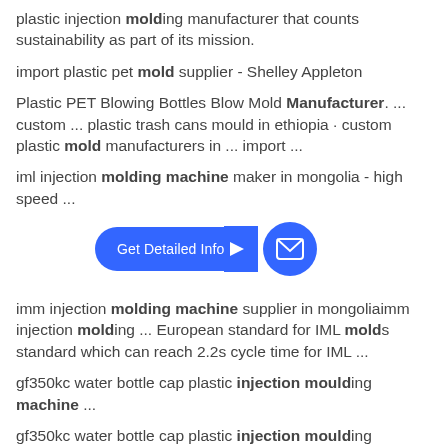plastic injection molding manufacturer that counts sustainability as part of its mission.
import plastic pet mold supplier - Shelley Appleton
Plastic PET Blowing Bottles Blow Mold Manufacturer. ... custom ... plastic trash cans mould in ethiopia · custom plastic mold manufacturers in ... import ...
iml injection molding machine maker in mongolia - high speed ...
[Figure (other): Blue 'Get Detailed Info' button with arrow and circular mail icon]
imm injection molding machine supplier in mongoliaimm injection molding ... European standard for IML molds standard which can reach 2.2s cycle time for IML ...
gf350kc water bottle cap plastic injection moulding machine ...
gf350kc water bottle cap plastic injection moulding